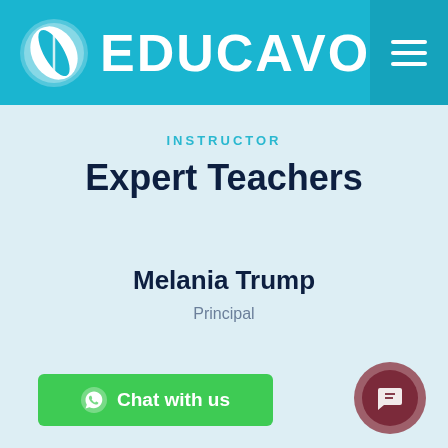[Figure (logo): EDUCAVO education platform logo with leaf-ball icon on teal header bar with hamburger menu button]
INSTRUCTOR
Expert Teachers
Melania Trump
Principal
Chat with us